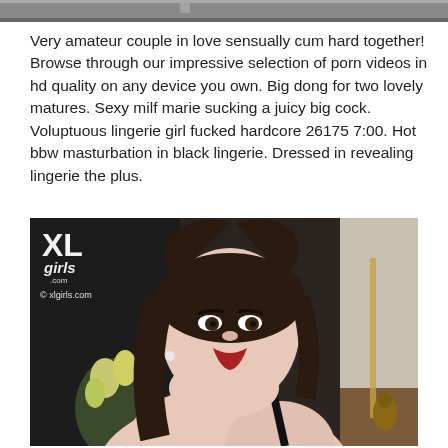[Figure (photo): Partial top strip of a photo visible at the top of the page]
Very amateur couple in love sensually cum hard together! Browse through our impressive selection of porn videos in hd quality on any device you own. Big dong for two lovely matures. Sexy milf marie sucking a juicy big cock. Voluptuous lingerie girl fucked hardcore 26175 7:00. Hot bbw masturbation in black lingerie. Dressed in revealing lingerie the plus.
[Figure (photo): Photo of a plus-size woman with dark hair wearing a black bra/lingerie, with 'XL Girls' logo watermark and © xlgirls.com copyright text in upper left corner]